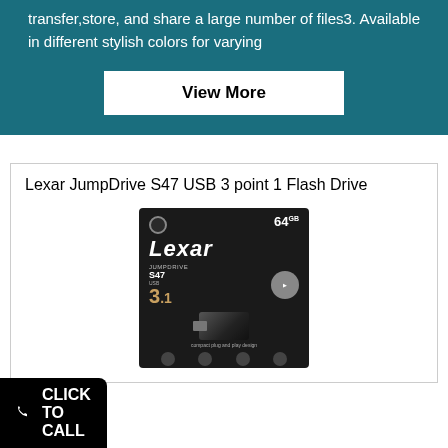transfer,store, and share a large number of files3. Available in different stylish colors for varying
[Figure (other): White rectangular button with bold black text reading 'View More' on a teal background]
Lexar JumpDrive S47 USB 3 point 1 Flash Drive
[Figure (photo): Product photo of Lexar JumpDrive S47 USB 3.1 Flash Drive 64GB in dark packaging]
CLICK TO CALL